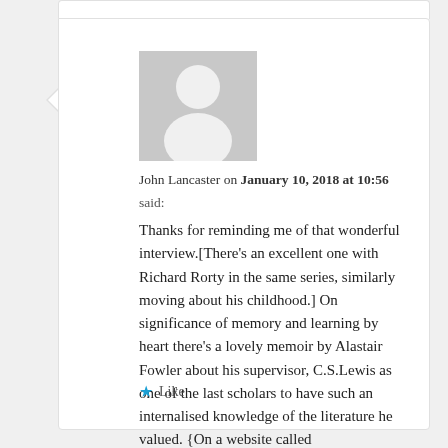John Lancaster on January 10, 2018 at 10:56 said:
Thanks for reminding me of that wonderful interview.[There's an excellent one with Richard Rorty in the same series, similarly moving about his childhood.] On significance of memory and learning by heart there's a lovely memoir by Alastair Fowler about his supervisor, C.S.Lewis as one of the last scholars to have such an internalised knowledge of the literature he valued. {On a website called LEWISIANA.NL
Cheers John
Like